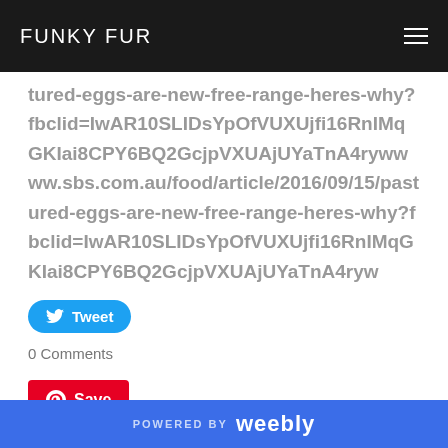FUNKY FUR
tured-eggs-are-new-free-range-heres-why?fbclid=IwAR10SLIDsYpOfVUXUjfi16RnIMqGKIai8CPY6BQ2GcjpVXUAjUYaTnA4rywwww.sbs.com.au/food/article/2016/09/15/pastured-eggs-are-new-free-range-heres-why?fbclid=IwAR10SLIDsYpOfVUXUjfi16RnIMqGKIai8CPY6BQ2GcjpVXUAjUYaTnA4ryw
Tweet
0 Comments
Save
POWERED BY weebly